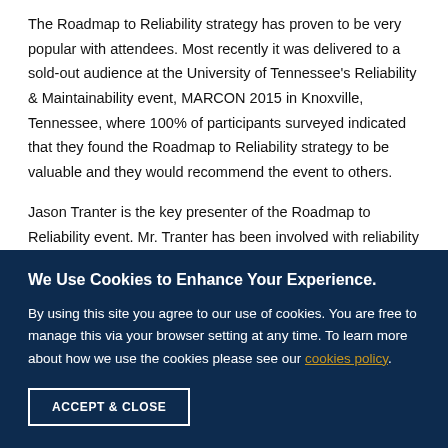The Roadmap to Reliability strategy has proven to be very popular with attendees. Most recently it was delivered to a sold-out audience at the University of Tennessee's Reliability & Maintainability event, MARCON 2015 in Knoxville, Tennessee, where 100% of participants surveyed indicated that they found the Roadmap to Reliability strategy to be valuable and they would recommend the event to others.
Jason Tranter is the key presenter of the Roadmap to Reliability event. Mr. Tranter has been involved with reliability and maintenance consulting services for 30 years and in the...
We Use Cookies to Enhance Your Experience.
By using this site you agree to our use of cookies. You are free to manage this via your browser setting at any time. To learn more about how we use the cookies please see our cookies policy.
ACCEPT & CLOSE